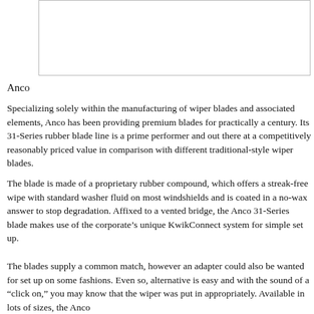[Figure (other): Blank white image box with border, likely a product image placeholder for Anco wiper blade]
Anco
Specializing solely within the manufacturing of wiper blades and associated elements, Anco has been providing premium blades for practically a century. Its 31-Series rubber blade line is a prime performer and out there at a competitively reasonably priced value in comparison with different traditional-style wiper blades.
The blade is made of a proprietary rubber compound, which offers a streak-free wipe with standard washer fluid on most windshields and is coated in a no-wax answer to stop degradation. Affixed to a vented bridge, the Anco 31-Series blade makes use of the corporate’s unique KwikConnect system for simple set up.
The blades supply a common match, however an adapter could also be wanted for set up on some fashions. Even so, alternative is easy and with the sound of a “click on,” you may know that the wiper was put in appropriately. Available in lots of sizes, the Anco…